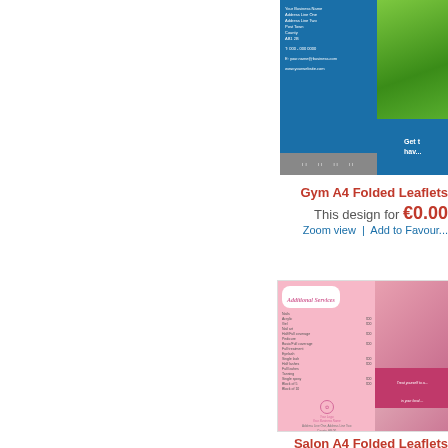[Figure (illustration): Gym A4 Folded Leaflet template preview showing blue panel with business address details on the left and green grass/outdoor background on the right with 'Get t... hav...' text overlay]
Gym A4 Folded Leaflets
This design for €0.00
Zoom view | Add to Favour...
[Figure (illustration): Salon A4 Folded Leaflet template preview showing pink panel with 'Additional Services' menu listing treatments on the left and nail/beauty photos on the right with 'Treat yourself to a... in your local...' promo banner]
Salon A4 Folded Leaflets